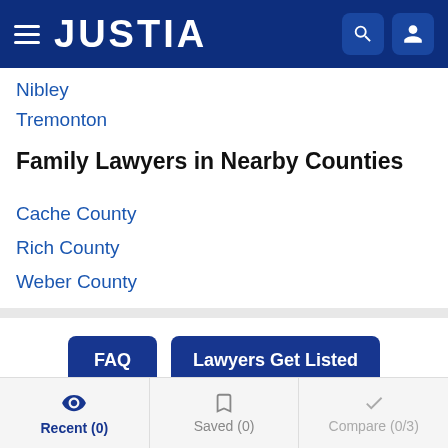JUSTIA
Nibley
Tremonton
Family Lawyers in Nearby Counties
Cache County
Rich County
Weber County
FAQ  Lawyers Get Listed
Related Practice Areas
Recent (0)  Saved (0)  Compare (0/3)